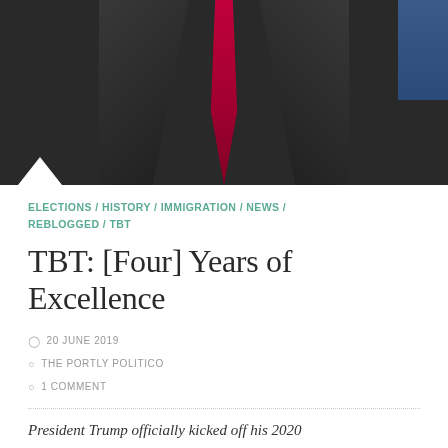[Figure (photo): Photo of a person in a dark suit with a red tie against a dark background, with a blue element visible in the upper right corner]
ELECTIONS / HISTORY / IMMIGRATION / NEWS / REBLOGGED / TBT
TBT: [Four] Years of Excellence
20 JUNE 2019
THE PORTLY POLITICO
1 COMMENT
President Trump officially kicked off his 2020 reelection campaign earlier this week, and it's been